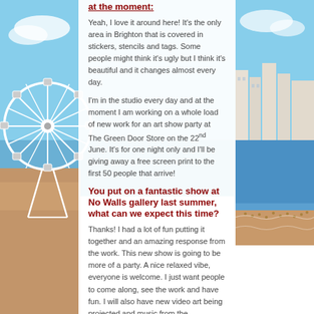[Figure (photo): Background photo of Brighton seafront featuring a Ferris wheel on the left side and beach/sea on the right side with blue sky]
Yeah, I love it around here! It's the only area in Brighton that is covered in stickers, stencils and tags. Some people might think it's ugly but I think it's beautiful and it changes almost every day.
I'm in the studio every day and at the moment I am working on a whole load of new work for an art show party at The Green Door Store on the 22nd June. It's for one night only and I'll be giving away a free screen print to the first 50 people that arrive!
You put on a fantastic show at No Walls gallery last summer, what can we expect this time?
Thanks! I had a lot of fun putting it together and an amazing response from the work. This new show is going to be more of a party. A nice relaxed vibe, everyone is welcome. I just want people to come along, see the work and have fun. I will also have new video art being projected and music from the